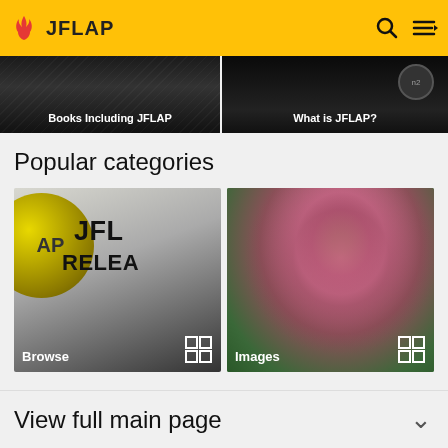JFLAP
[Figure (screenshot): Two dark image tiles: 'Books Including JFLAP' on left, 'What is JFLAP?' on right]
Popular categories
[Figure (screenshot): Category card showing JFLAP logo with text 'JFL RELEA', labeled 'Browse' with grid icon]
[Figure (photo): Category card showing a pink lotus flower bud on green background, labeled 'Images' with grid icon]
View full main page